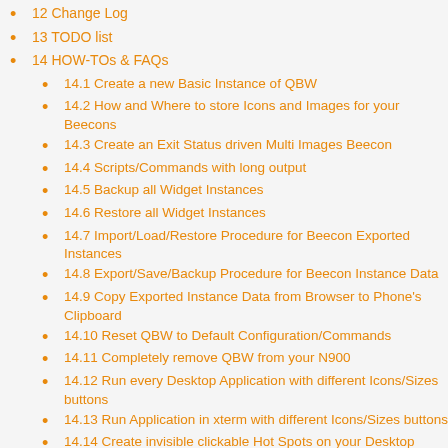12 Change Log
13 TODO list
14 HOW-TOs & FAQs
14.1 Create a new Basic Instance of QBW
14.2 How and Where to store Icons and Images for your Beecons
14.3 Create an Exit Status driven Multi Images Beecon
14.4 Scripts/Commands with long output
14.5 Backup all Widget Instances
14.6 Restore all Widget Instances
14.7 Import/Load/Restore Procedure for Beecon Exported Instances
14.8 Export/Save/Backup Procedure for Beecon Instance Data
14.9 Copy Exported Instance Data from Browser to Phone's Clipboard
14.10 Reset QBW to Default Configuration/Commands
14.11 Completely remove QBW from your N900
14.12 Run every Desktop Application with different Icons/Sizes buttons
14.13 Run Application in xterm with different Icons/Sizes buttons
14.14 Create invisible clickable Hot Spots on your Desktop Background Image to launch Applications or perform Actions
14.15 Relocate/Rotate a QBW widget on a Keyboard slide event
14.16 FAQs
14.16.1 Could you make an easy way to install new beecons